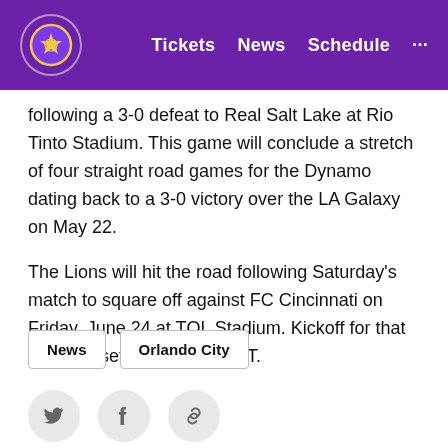Orlando City SC — Tickets  News  Schedule  ...
following a 3-0 defeat to Real Salt Lake at Rio Tinto Stadium. This game will conclude a stretch of four straight road games for the Dynamo dating back to a 3-0 victory over the LA Galaxy on May 22.
The Lions will hit the road following Saturday's match to square off against FC Cincinnati on Friday, June 24 at TQL Stadium. Kickoff for that match is set for 7:30 p.m. ET.
News
Orlando City
[Figure (other): Social share icons: Twitter, Facebook, link/copy]